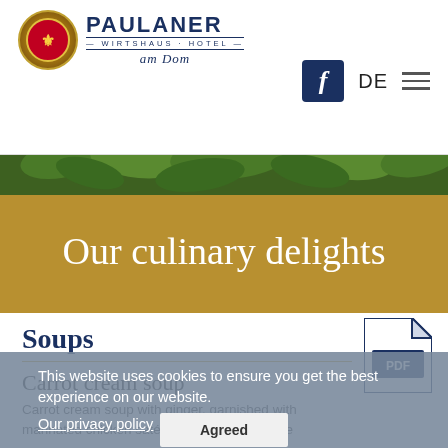[Figure (logo): Paulaner Wirtshaus Hotel am Dom logo with circular badge and text]
[Figure (illustration): Facebook icon in dark blue square]
DE
[Figure (illustration): Hamburger menu icon (three lines)]
[Figure (photo): Green herb/plant background banner]
Our culinary delights
[Figure (illustration): PDF file icon]
Soups
Carrot cream soup
Carrot cream soup with ginger, garnished with marinated chicken saté, served with baguette
This website uses cookies to ensure you get the best experience on our website.
Our privacy policy
Agreed